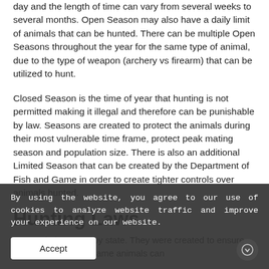day and the length of time can vary from several weeks to several months. Open Season may also have a daily limit of animals that can be hunted. There can be multiple Open Seasons throughout the year for the same type of animal, due to the type of weapon (archery vs firearm) that can be utilized to hunt.
Closed Season is the time of year that hunting is not permitted making it illegal and therefore can be punishable by law. Seasons are created to protect the animals during their most vulnerable time frame, protect peak mating season and population size. There is also an additional Limited Season that can be created by the Department of Fish and Game in order to create tighter controls over animals hunted.
Hunting Laws
or Regulations vary by state. They were created to ensure animals, birds, and game animals can
By using the website, you agree to our use of cookies to analyze website traffic and improve your experience on our website.